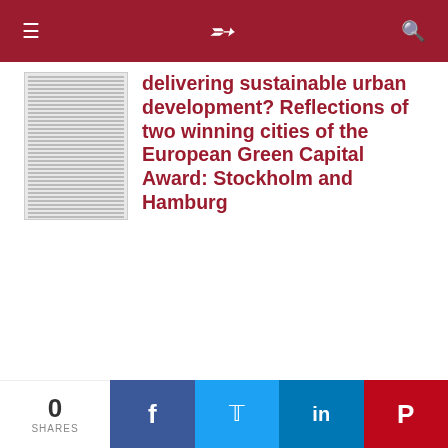≡  )  🔍
[Figure (other): Thumbnail of academic article document page]
delivering sustainable urban development? Reflections of two winning cities of the European Green Capital Award: Stockholm and Hamburg
Demaziere, Christophe
(2020), 91, (4), 373−395.
[Figure (other): Information button (i)]
Between global and
0 SHARES  f  🐦  in  P